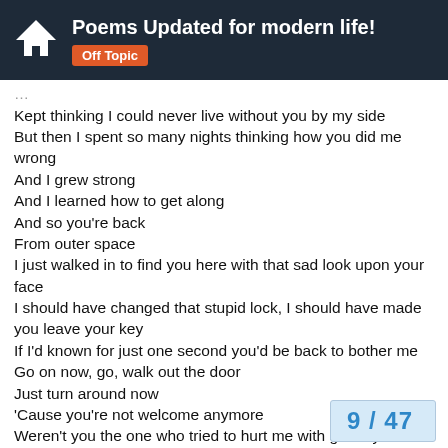Poems Updated for modern life! Off Topic
Kept thinking I could never live without you by my side
But then I spent so many nights thinking how you did me wrong
And I grew strong
And I learned how to get along
And so you're back
From outer space
I just walked in to find you here with that sad look upon your face
I should have changed that stupid lock, I should have made you leave your key
If I'd known for just one second you'd be back to bother me
Go on now, go, walk out the door
Just turn around now
'Cause you're not welcome anymore
Weren't you the one who tried to hurt me with goodbye
Do you think I'd crumble
Did you think I'd lay down and die?
Oh no, not I, I will survive
Oh, as long as I know how to love, I know
9 / 47